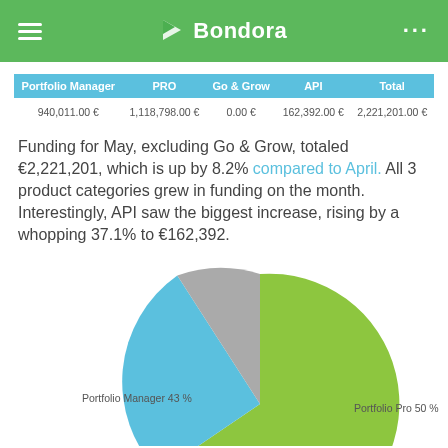Bondora
| Portfolio Manager | PRO | Go & Grow | API | Total |
| --- | --- | --- | --- | --- |
| 940,011.00 € | 1,118,798.00 € | 0.00 € | 162,392.00 € | 2,221,201.00 € |
Funding for May, excluding Go & Grow, totaled €2,221,201, which is up by 8.2% compared to April. All 3 product categories grew in funding on the month. Interestingly, API saw the biggest increase, rising by a whopping 37.1% to €162,392.
[Figure (pie-chart): ]